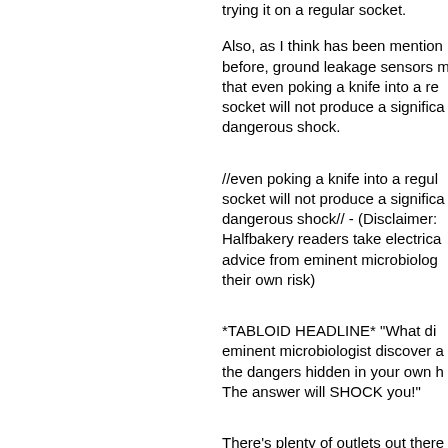trying it on a regular socket.
Also, as I think has been mentioned before, ground leakage sensors mean that even poking a knife into a regular socket will not produce a significantly dangerous shock.
—MaxwellBuchanan, Mar
//even poking a knife into a regular socket will not produce a significantly dangerous shock// - (Disclaimer: Halfbakery readers take electrical advice from eminent microbiologists at their own risk)
—hippo, Mar
*TABLOID HEADLINE* "What did eminent microbiologist discover about the dangers hidden in your own home? The answer will SHOCK you!"
—AusCan531, Mar
There's plenty of outlets out there without ground leakage protection, at least here in the states.
—Spacecoyote, Mar